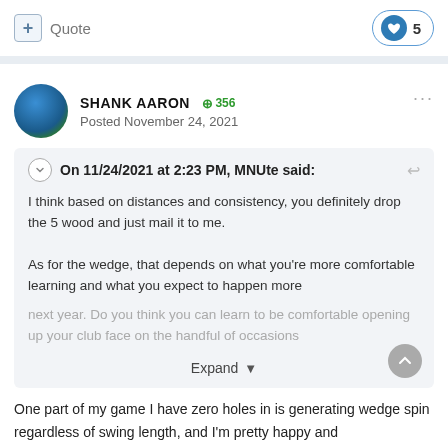+ Quote
♥ 5
SHANK AARON +356 Posted November 24, 2021
On 11/24/2021 at 2:23 PM, MNUte said:
I think based on distances and consistency, you definitely drop the 5 wood and just mail it to me.

As for the wedge, that depends on what you're more comfortable learning and what you expect to happen more next year. Do you think you can learn to be comfortable opening up your club face on the handful of occasions
Expand
One part of my game I have zero holes in is generating wedge spin regardless of swing length, and I'm pretty happy and